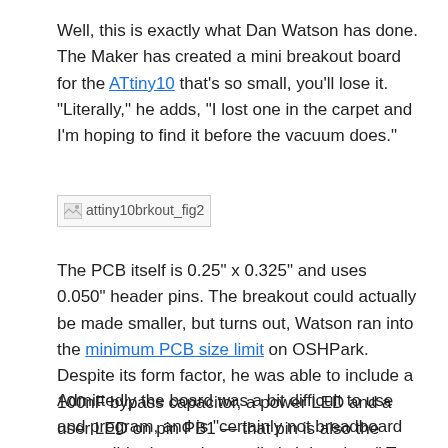Well, this is exactly what Dan Watson has done. The Maker has created a mini breakout board for the ATtiny10 that's so small, you'll lose it. "Literally," he adds, "I lost one in the carpet and I'm hoping to find it before the vacuum does."
[Figure (photo): Broken/missing image placeholder labeled attiny10brkout_fig2]
The PCB itself is 0.25" x 0.325" and uses 0.050" header pins. The breakout could actually be made smaller, but turns out, Watson ran into the minimum PCB size limit on OSHPark. Despite its form factor, he was able to include a 100nF bypass capacitor, a power LED and a user LED on pin PB1 — that pin is also the clock pin for the programming interface, so it flashes when the board is being programmed.
Admittedly the board was a bit difficult to use and program, and is "certainly not breadboard compatible due to the small pitch headers." To overcome this issue, Watson built a small landing